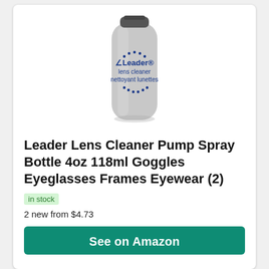[Figure (photo): Leader lens cleaner pump spray bottle, cylindrical light gray bottle with dark blue text reading 'Leader lens cleaner nettoyant lunettes' and dot decoration on white background]
Leader Lens Cleaner Pump Spray Bottle 4oz 118ml Goggles Eyeglasses Frames Eyewear (2)
in stock
2 new from $4.73
See on Amazon